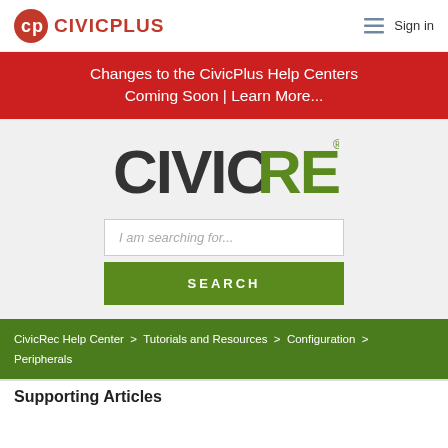[Figure (logo): CivicPlus logo with red CP icon and red bold text CIVICPLUS in navbar]
Sign in
Changes to the CivicPlus Help Centers Coming Soon | Learn More...
[Figure (logo): CivicRec logo: dark gray CIVIC + green REC text with registered trademark symbol]
I am searching for...
SEARCH
CivicRec Help Center > Tutorials and Resources > Configuration > Peripherals
Supporting Articles